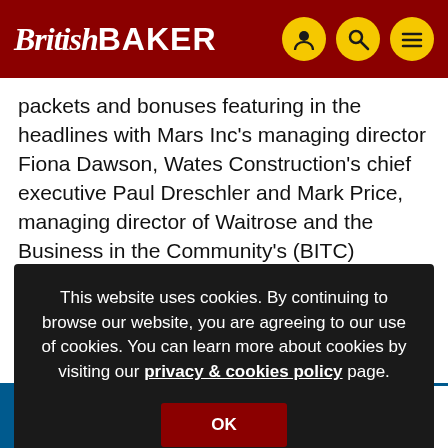BritishBAKER
packets and bonuses featuring in the headlines with Mars Inc's managing director Fiona Dawson, Wates Construction's chief executive Paul Dreschler and Mark Price, managing director of Waitrose and the Business in the Community's (BITC) chairman.
This website uses cookies. By continuing to browse our website, you are agreeing to our use of cookies. You can learn more about cookies by visiting our privacy & cookies policy page.
OK
EPP supplying and supporting the equipment your bakery deserves